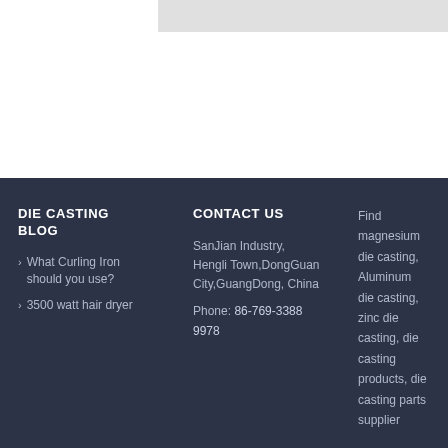[Figure (other): Light gray rectangle box in top-right area of the page header]
DIE CASTING BLOG
What Curling Iron should you use?
3500 watt hair dryer
CONTACT US
SanJian Industry, Hengli Town,DongGuan City,GuangDong, China
Phone: 86-769-3388 9978
Find magnesium die casting, Aluminum die casting, zinc die casting, die casting products, die casting parts supplier